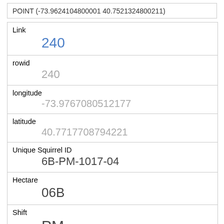POINT (-73.9624104800001 40.7521324800211)
| Link | 240 |
| rowid | 240 |
| longitude | -73.9767080512177 |
| latitude | 40.7717708794221 |
| Unique Squirrel ID | 6B-PM-1017-04 |
| Hectare | 06B |
| Shift | PM |
| Date | 10172018 |
| Hectare Squirrel Number | 4 |
| Age |  |